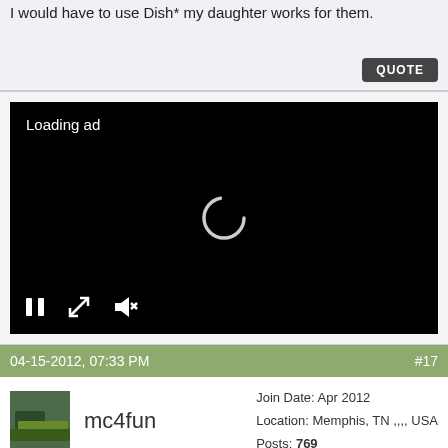I would have to use Dish* my daughter works for them.
QUOTE
[Figure (screenshot): Video player with black background showing 'Loading ad' text, a spinning loading indicator in the center, and playback controls at the bottom (pause, expand, mute).]
04-15-2012, 07:33 PM   #17
mc4fun   Join Date: Apr 2012  Location: Memphis, TN ,,,, USA  Posts: 769